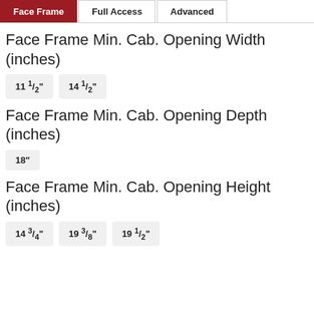Face Frame | Full Access | Advanced
Face Frame Min. Cab. Opening Width (inches)
11 1/2"   14 1/2"
Face Frame Min. Cab. Opening Depth (inches)
18"
Face Frame Min. Cab. Opening Height (inches)
14 3/4"   19 3/8"   19 1/2"